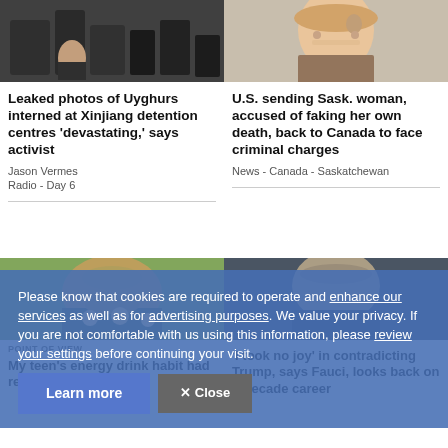[Figure (photo): People in dark clothing, one person crouching, security/police scene]
[Figure (photo): Woman with blonde hair smiling, wearing hoop earrings]
Leaked photos of Uyghurs interned at Xinjiang detention centres 'devastating,' says activist
Jason Vermes
Radio  -  Day 6
U.S. sending Sask. woman, accused of faking her own death, back to Canada to face criminal charges
News  -  Canada  -  Saskatchewan
[Figure (photo): Person wearing mask with yellow background]
[Figure (photo): Older man in suit, official-looking]
POINT OF VIEW
My teen's energy drink habit had real-life consequences
'I took no joy' in contradicting Trump, says Fauci, looks back on 5-decade career
Please know that cookies are required to operate and enhance our services as well as for advertising purposes. We value your privacy. If you are not comfortable with us using this information, please review your settings before continuing your visit.
Learn more
Close